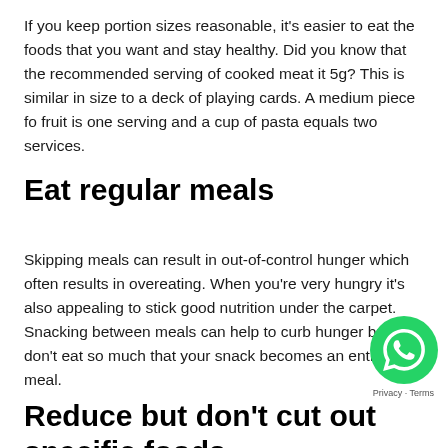If you keep portion sizes reasonable, it's easier to eat the foods that you want and stay healthy. Did you know that the recommended serving of cooked meat it 5g? This is similar in size to a deck of playing cards. A medium piece fo fruit is one serving and a cup of pasta equals two services.
Eat regular meals
Skipping meals can result in out-of-control hunger which often results in overeating. When you're very hungry it's also appealing to stick good nutrition under the carpet. Snacking between meals can help to curb hunger but don't eat so much that your snack becomes an entire meal.
Reduce but don't cut out specific foods